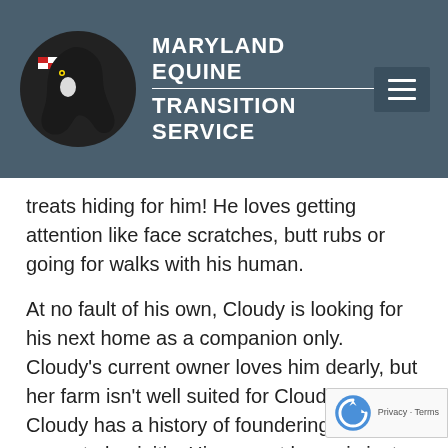MARYLAND EQUINE TRANSITION SERVICE
treats hiding for him! He loves getting attention like face scratches, butt rubs or going for walks with his human.
At no fault of his own, Cloudy is looking for his next home as a companion only. Cloudy’s current owner loves him dearly, but her farm isn’t well suited for Cloudy’s needs. Cloudy has a history of foundering and prone to laminitis. His current home is just too grassy for him, so Cloudy needs a home with a dry lot to accommodate his grass sensitivity. He does have some rotation, and the owner would be happy to supply x-rays to pre-screened inquiries. Placin…